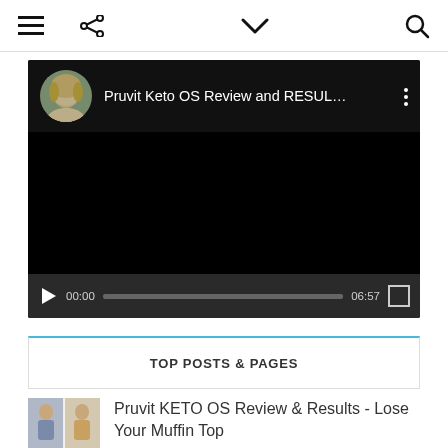≡  ⋮  ∨  🔍 (navigation bar)
[Figure (screenshot): YouTube video player showing 'Pruvit Keto OS Review and RESUL...' with a female avatar thumbnail, black main area, play button, timecode 00:00, progress bar, duration 06:57, and fullscreen button.]
TOP POSTS & PAGES
[Figure (photo): Small thumbnail image showing two women in before/after style photo for 'Pruvit KETO OS Review & Results - Lose Your Muffin Top']
Pruvit KETO OS Review & Results - Lose Your Muffin Top